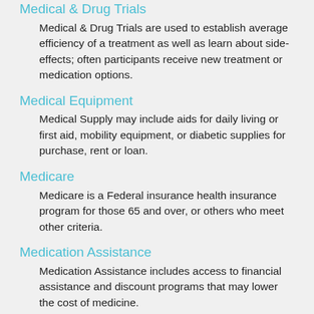Medical & Drug Trials
Medical & Drug Trials are used to establish average efficiency of a treatment as well as learn about side-effects; often participants receive new treatment or medication options.
Medical Equipment
Medical Supply may include aids for daily living or first aid, mobility equipment, or diabetic supplies for purchase, rent or loan.
Medicare
Medicare is a Federal insurance health insurance program for those 65 and over, or others who meet other criteria.
Medication Assistance
Medication Assistance includes access to financial assistance and discount programs that may lower the cost of medicine.
Medication Reminder
Medication Reminders are services or devices that assist clients in remembering to take their medicine on the prescribed schedule.
Medication Review